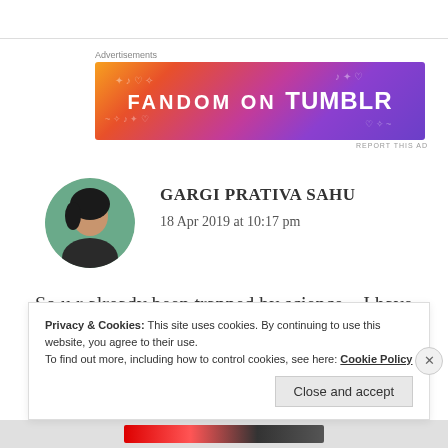[Figure (illustration): FANDOM ON tumblr advertisement banner with colorful gradient background (orange, pink, purple) and white illustrated doodles]
Advertisements
REPORT THIS AD
[Figure (photo): Circular profile photo of Gargi Prativa Sahu — a woman with dark hair against a teal/green background]
GARGI PRATIVA SAHU
18 Apr 2019 at 10:17 pm
So u r already been trapped by science....I have wished u earlier🤣🤣
Privacy & Cookies: This site uses cookies. By continuing to use this website, you agree to their use.
To find out more, including how to control cookies, see here: Cookie Policy
Close and accept